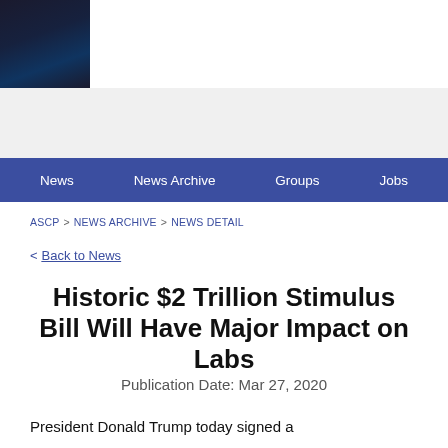[Figure (photo): Dark photo in upper-left corner, appears to be a dark night or abstract image]
News  News Archive  Groups  Jobs
ASCP > NEWS ARCHIVE > NEWS DETAIL
< Back to News
Historic $2 Trillion Stimulus Bill Will Have Major Impact on Labs
Publication Date: Mar 27, 2020
President Donald Trump today signed a